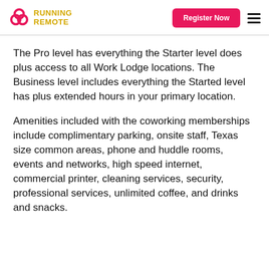Running Remote | Register Now
The Pro level has everything the Starter level does plus access to all Work Lodge locations. The Business level includes everything the Started level has plus extended hours in your primary location.
Amenities included with the coworking memberships include complimentary parking, onsite staff, Texas size common areas, phone and huddle rooms, events and networks, high speed internet, commercial printer, cleaning services, security, professional services, unlimited coffee, and drinks and snacks.